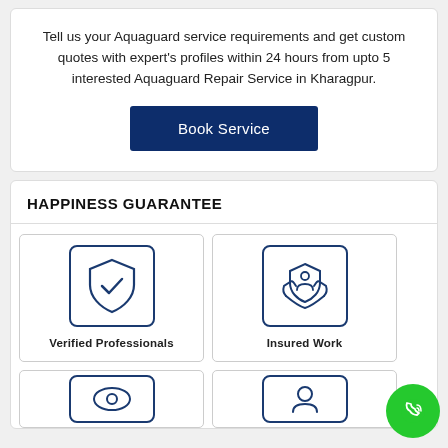Tell us your Aquaguard service requirements and get custom quotes with expert's profiles within 24 hours from upto 5 interested Aquaguard Repair Service in Kharagpur.
Book Service
HAPPINESS GUARANTEE
[Figure (illustration): Icon of a shield with a checkmark inside, with a rounded square border, representing Verified Professionals]
Verified Professionals
[Figure (illustration): Icon of hands holding a person/shield with a face, representing Insured Work]
Insured Work
[Figure (illustration): Partial icon visible at bottom, cut off — appears to be an eye or similar shape]
[Figure (illustration): Partial icon visible at bottom, cut off]
[Figure (illustration): Green circular phone/call button in bottom right corner]